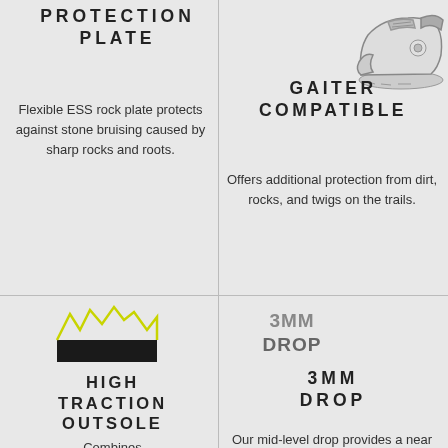PROTECTION PLATE
[Figure (illustration): Illustration of a trail running shoe, side view, showing sole and upper structure]
Flexible ESS rock plate protects against stone bruising caused by sharp rocks and roots.
GAITER COMPATIBLE
Offers additional protection from dirt, rocks, and twigs on the trails.
[Figure (logo): Maxxis logo mark — stylized mountain/traction pattern in black and yellow-green]
HIGH TRACTION OUTSOLE
Combines multidirectional traction, heel braking
[Figure (other): 3MM DROP badge text in bold gray]
3MM DROP
Our mid-level drop provides a near neutral platform for a more natural running